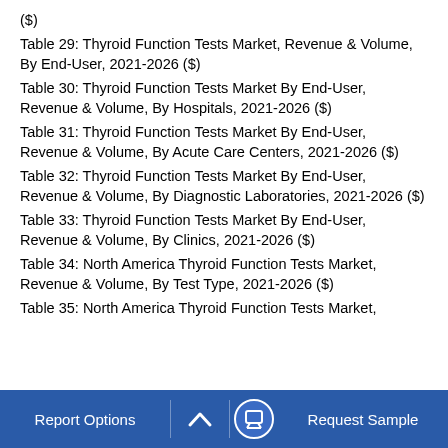($)
Table 29: Thyroid Function Tests Market, Revenue & Volume, By End-User, 2021-2026 ($)
Table 30: Thyroid Function Tests Market By End-User, Revenue & Volume, By Hospitals, 2021-2026 ($)
Table 31: Thyroid Function Tests Market By End-User, Revenue & Volume, By Acute Care Centers, 2021-2026 ($)
Table 32: Thyroid Function Tests Market By End-User, Revenue & Volume, By Diagnostic Laboratories, 2021-2026 ($)
Table 33: Thyroid Function Tests Market By End-User, Revenue & Volume, By Clinics, 2021-2026 ($)
Table 34: North America Thyroid Function Tests Market, Revenue & Volume, By Test Type, 2021-2026 ($)
Table 35: North America Thyroid Function Tests Market,
Report Options   ^   Request Sample